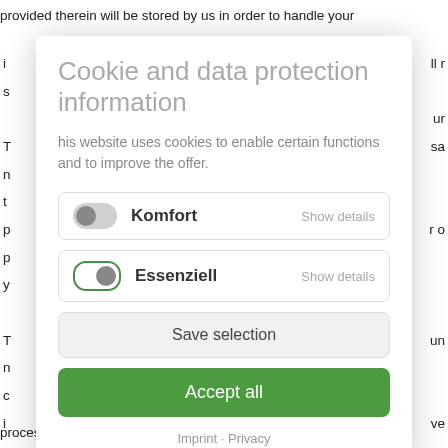provided therein will be stored by us in order to handle your
[Figure (screenshot): Cookie and data protection information modal overlay with toggle switches for Komfort and Essenziell, Save selection button, Accept all button, and Imprint/Privacy footer links]
processed by us for the purpose of processing your request. We d